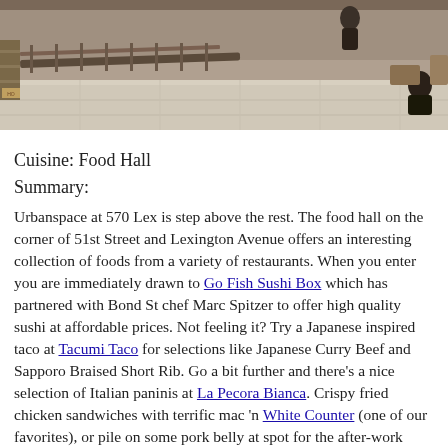[Figure (photo): Interior of Urbanspace food hall at 570 Lex, aerial/elevated view showing the space with railings, floor, people walking, and seating areas.]
Cuisine: Food Hall
Summary:
Urbanspace at 570 Lex is step above the rest. The food hall on the corner of 51st Street and Lexington Avenue offers an interesting collection of foods from a variety of restaurants. When you enter you are immediately drawn to Go Fish Sushi Box which has partnered with Bond St chef Marc Spitzer to offer high quality sushi at affordable prices. Not feeling it? Try a Japanese inspired taco at Tacumi Taco for selections like Japanese Curry Beef and Sapporo Braised Short Rib. Go a bit further and there's a nice selection of Italian paninis at La Pecora Bianca. Crispy fried chicken sandwiches with terrific mac 'n White Counter (one of our favorites), or pile on some pork belly at spot for the after-work business crowd is Top Hops where the beer is a growler. There are juices and smoothies by Liquiteria, falafel sand